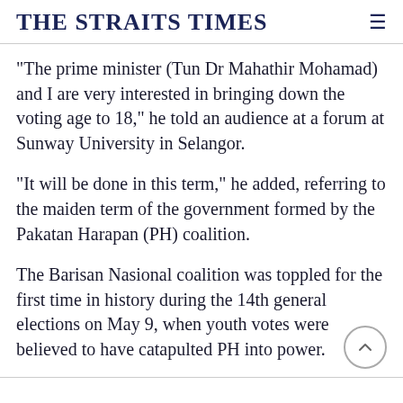THE STRAITS TIMES
"The prime minister (Tun Dr Mahathir Mohamad) and I are very interested in bringing down the voting age to 18," he told an audience at a forum at Sunway University in Selangor.
"It will be done in this term," he added, referring to the maiden term of the government formed by the Pakatan Harapan (PH) coalition.
The Barisan Nasional coalition was toppled for the first time in history during the 14th general elections on May 9, when youth votes were believed to have catapulted PH into power.